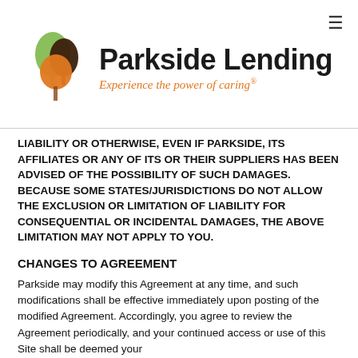[Figure (logo): Parkside Lending logo with three tree silhouettes (green, dark brown, orange) and text 'Parkside Lending' with tagline 'Experience the power of caring®']
LIABILITY OR OTHERWISE, EVEN IF PARKSIDE, ITS AFFILIATES OR ANY OF ITS OR THEIR SUPPLIERS HAS BEEN ADVISED OF THE POSSIBILITY OF SUCH DAMAGES. BECAUSE SOME STATES/JURISDICTIONS DO NOT ALLOW THE EXCLUSION OR LIMITATION OF LIABILITY FOR CONSEQUENTIAL OR INCIDENTAL DAMAGES, THE ABOVE LIMITATION MAY NOT APPLY TO YOU.
CHANGES TO AGREEMENT
Parkside may modify this Agreement at any time, and such modifications shall be effective immediately upon posting of the modified Agreement. Accordingly, you agree to review the Agreement periodically, and your continued access or use of this Site shall be deemed your...